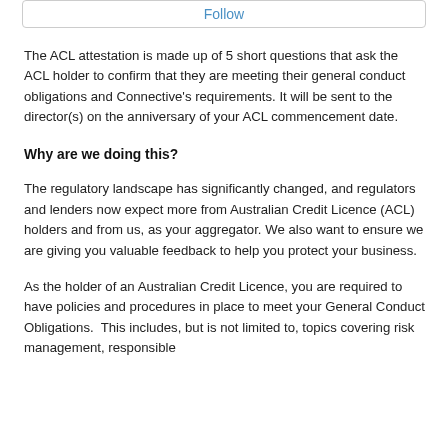Follow
The ACL attestation is made up of 5 short questions that ask the ACL holder to confirm that they are meeting their general conduct obligations and Connective’s requirements. It will be sent to the director(s) on the anniversary of your ACL commencement date.
Why are we doing this?
The regulatory landscape has significantly changed, and regulators and lenders now expect more from Australian Credit Licence (ACL) holders and from us, as your aggregator. We also want to ensure we are giving you valuable feedback to help you protect your business.
As the holder of an Australian Credit Licence, you are required to have policies and procedures in place to meet your General Conduct Obligations.  This includes, but is not limited to, topics covering risk management, responsible